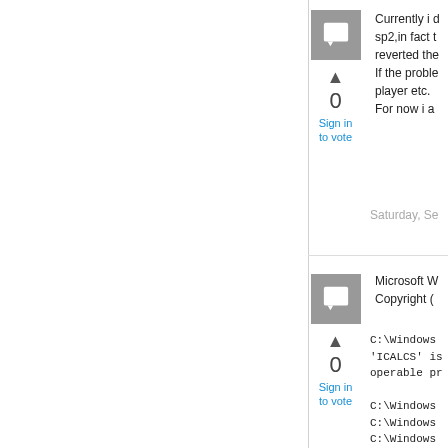[Figure (illustration): User avatar icon - gray square with white speech bubble/comment icon]
Currently i d sp2,in fact t reverted the If the proble player etc. For now i a
0
Sign in to vote
Saturday, Se
[Figure (illustration): User avatar icon - gray square with white speech bubble/comment icon]
Microsoft W Copyright (
0
Sign in to vote
C:\Windows 'ICALCS' is operable pr
C:\Windows C:\Windows C:\Windows